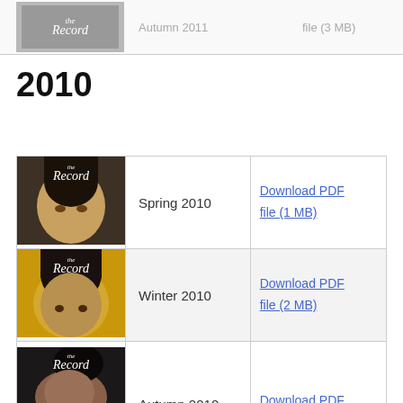[Figure (other): Partially visible row with grey magazine thumbnail for a 2011 issue of The Record]
Autumn 2011
file (3 MB)
2010
| Cover | Issue | Download |
| --- | --- | --- |
| [Spring 2010 cover image] | Spring 2010 | Download PDF file (1 MB) |
| [Winter 2010 cover image] | Winter 2010 | Download PDF file (2 MB) |
| [Autumn 2010 cover image] | Autumn 2010 | Download PDF |